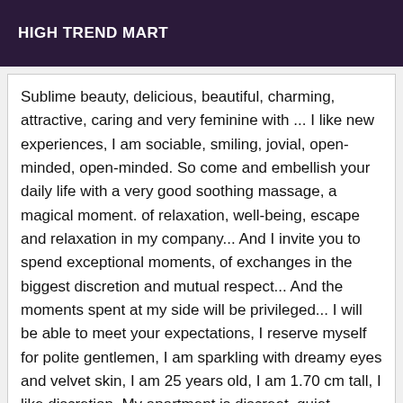HIGH TREND MART
Sublime beauty, delicious, beautiful, charming, attractive, caring and very feminine with ... I like new experiences, I am sociable, smiling, jovial, open-minded, open-minded. So come and embellish your daily life with a very good soothing massage, a magical moment. of relaxation, well-being, escape and relaxation in my company... And I invite you to spend exceptional moments, of exchanges in the biggest discretion and mutual respect... And the moments spent at my side will be privileged... I will be able to meet your expectations, I reserve myself for polite gentlemen, I am sparkling with dreamy eyes and velvet skin, I am 25 years old, I am 1.70 cm tall, I like discretion. My apartment is discreet, quiet, perfect hygiene and easy for you to park. Perfect for the beginner... Soft and nice NB: All my photos are authentic!!! You can check it by yourself... 100% REAL